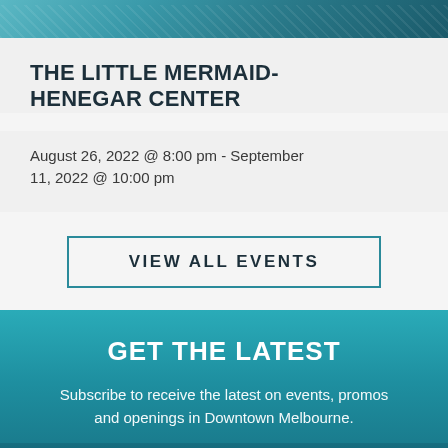[Figure (photo): Top decorative image strip with teal/blue color tones]
THE LITTLE MERMAID- HENEGAR CENTER
August 26, 2022 @ 8:00 pm - September 11, 2022 @ 10:00 pm
VIEW ALL EVENTS
GET THE LATEST
Subscribe to receive the latest on events, promos and openings in Downtown Melbourne.
[Figure (photo): Bottom image strip showing historic waterfront/bridge scene in Downtown Melbourne with teal overlay]